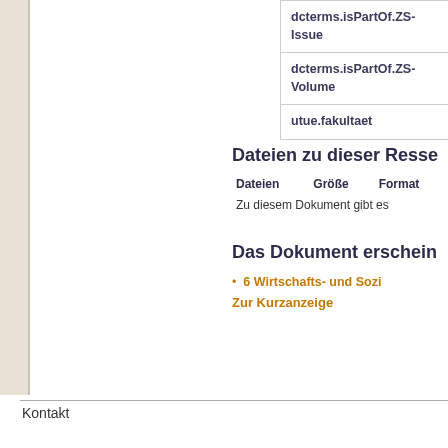| dcterms.isPartOf.ZS-Issue |
| dcterms.isPartOf.ZS-Volume |
| utue.fakultaet |
Dateien zu dieser Resse
| Dateien | Größe | Format |
| --- | --- | --- |
| Zu diesem Dokument gibt es |  |  |
Das Dokument erschein
6 Wirtschafts- und Sozi
Zur Kurzanzeige
Kontakt